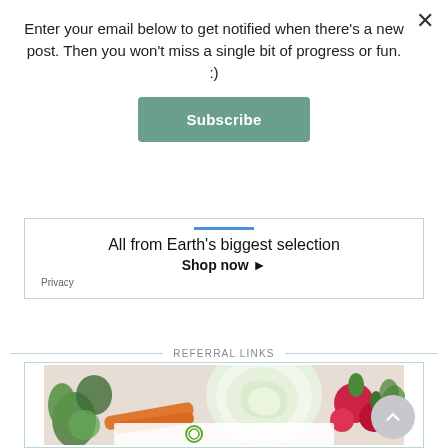Enter your email below to get notified when there's a new post. Then you won't miss a single bit of progress or fun. :)
Subscribe
All from Earth's biggest selection
Shop now ▸
Privacy
REFERRAL LINKS
[Figure (photo): Photo of fresh vegetables including cabbage, carrots, and radishes on a light background, with a circular logo overlay at the bottom.]